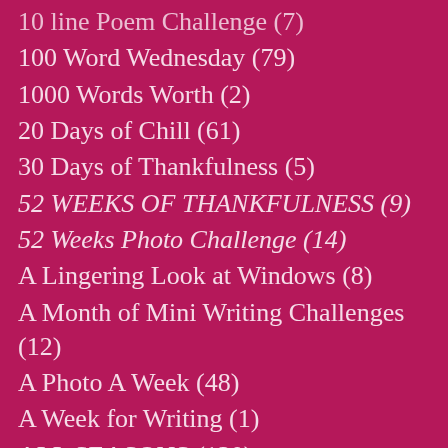10 line Poem Challenge (7)
100 Word Wednesday (79)
1000 Words Worth (2)
20 Days of Chill (61)
30 Days of Thankfulness (5)
52 WEEKS OF THANKFULNESS (9)
52 Weeks Photo Challenge (14)
A Lingering Look at Windows (8)
A Month of Mini Writing Challenges (12)
A Photo A Week (48)
A Week for Writing (1)
ALL SEASONS (130)
April PAD Challenge (27)
B&P Shadorma & Beyond (2)